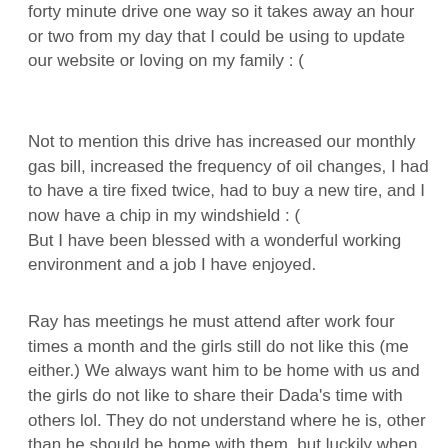forty minute drive one way so it takes away an hour or two from my day that I could be using to update our website or loving on my family : (
Not to mention this drive has increased our monthly gas bill, increased the frequency of oil changes, I had to have a tire fixed twice, had to buy a new tire, and I now have a chip in my windshield : (
But I have been blessed with a wonderful working environment and a job I have enjoyed.
Ray has meetings he must attend after work four times a month and the girls still do not like this (me either.) We always want him to be home with us and the girls do not like to share their Dada's time with others lol. They do not understand where he is, other than he should be home with them, but luckily when he is at the City Council meetings the girls get to watch him on t.v. and that has helped a bit.
When we are not working we are trying to spend as much time with our girls as possible. Both of our girls love going to the park so we are trying to take them as often as the